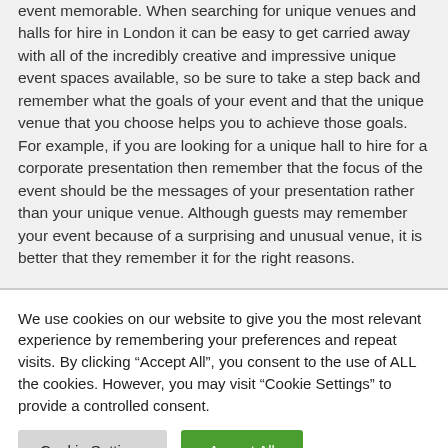event memorable. When searching for unique venues and halls for hire in London it can be easy to get carried away with all of the incredibly creative and impressive unique event spaces available, so be sure to take a step back and remember what the goals of your event and that the unique venue that you choose helps you to achieve those goals. For example, if you are looking for a unique hall to hire for a corporate presentation then remember that the focus of the event should be the messages of your presentation rather than your unique venue. Although guests may remember your event because of a surprising and unusual venue, it is better that they remember it for the right reasons.
We use cookies on our website to give you the most relevant experience by remembering your preferences and repeat visits. By clicking "Accept All", you consent to the use of ALL the cookies. However, you may visit "Cookie Settings" to provide a controlled consent.
Cookie Settings | Accept All